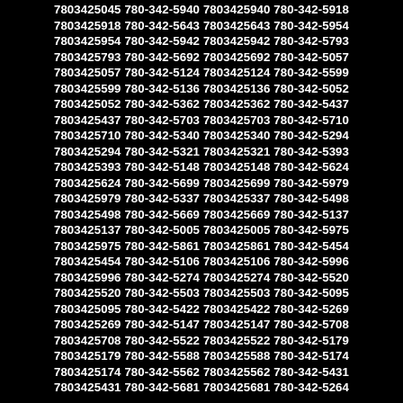7803425045 780-342-5940 7803425940 780-342-5918 7803425918 780-342-5643 7803425643 780-342-5954 7803425954 780-342-5942 7803425942 780-342-5793 7803425793 780-342-5692 7803425692 780-342-5057 7803425057 780-342-5124 7803425124 780-342-5599 7803425599 780-342-5136 7803425136 780-342-5052 7803425052 780-342-5362 7803425362 780-342-5437 7803425437 780-342-5703 7803425703 780-342-5710 7803425710 780-342-5340 7803425340 780-342-5294 7803425294 780-342-5321 7803425321 780-342-5393 7803425393 780-342-5148 7803425148 780-342-5624 7803425624 780-342-5699 7803425699 780-342-5979 7803425979 780-342-5337 7803425337 780-342-5498 7803425498 780-342-5669 7803425669 780-342-5137 7803425137 780-342-5005 7803425005 780-342-5975 7803425975 780-342-5861 7803425861 780-342-5454 7803425454 780-342-5106 7803425106 780-342-5996 7803425996 780-342-5274 7803425274 780-342-5520 7803425520 780-342-5503 7803425503 780-342-5095 7803425095 780-342-5422 7803425422 780-342-5269 7803425269 780-342-5147 7803425147 780-342-5708 7803425708 780-342-5522 7803425522 780-342-5179 7803425179 780-342-5588 7803425588 780-342-5174 7803425174 780-342-5562 7803425562 780-342-5431 7803425431 780-342-5681 7803425681 780-342-5264